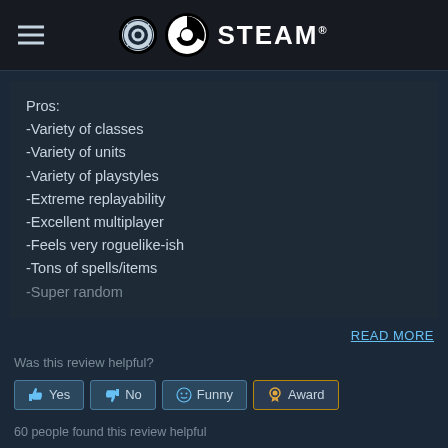STEAM
Pros:
-Variety of classes
-Variety of units
-Variety of playstyles
-Extreme replayability
-Excellent multiplayer
-Feels very roguelike-ish
-Tons of spells/items
-Super random
READ MORE
Was this review helpful?
Yes  No  Funny  Award
60 people found this review helpful
1 person found this review funny